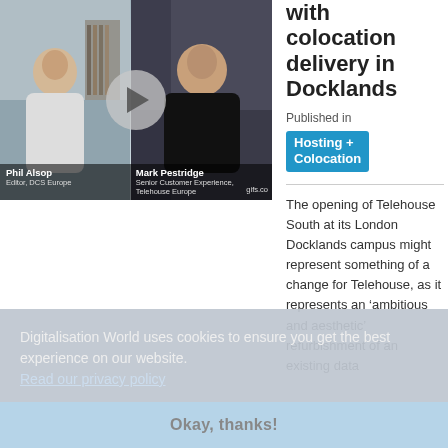[Figure (screenshot): Video thumbnail showing two people (Phil Alsop, Editor DCS Europe; Mark Pestridge, Senior Customer Experience, Telehouse Europe) in a split screen with a play button overlay. watermark 'gifs.co' visible.]
with colocation delivery in Docklands
Published in
Hosting + Colocation
The opening of Telehouse South at its London Docklands campus might represent something of a change for Telehouse, as it represents an ‘ambitious and aesthetic’ refurbishment of an existing data
Digitalisation World uses cookies to ensure you get the best experience on our website. Read our privacy policy
Okay, thanks!